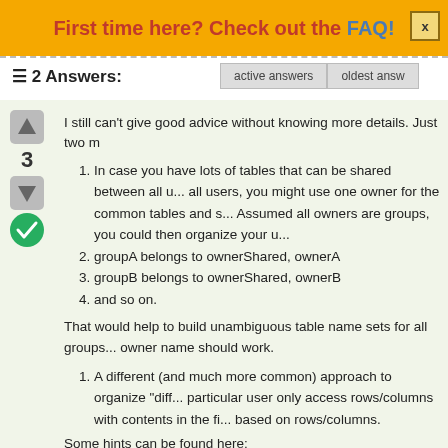First time here? Check out the FAQ!
≡ 2 Answers:
I still can't give good advice without knowing more details. Just two m
In case you have lots of tables that can be shared between all users, you might use one owner for the common tables and s... Assumed all owners are groups, you could then organize your u...
groupA belongs to ownerShared, ownerA
groupB belongs to ownerShared, ownerB
and so on.
That would help to build unambiguous table name sets for all groups... owner name should work.
A different (and much more common) approach to organize "diff... particular user only access rows/columns with contents in the fi... based on rows/columns.
Some hints can be found here:
This FAQ: Limit table content by user group/profiles/rules?
From Breck's blog: SQL Anywhere: Example: Using Views For Ro...